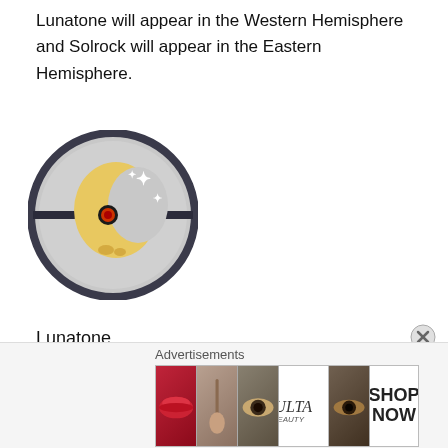Lunatone will appear in the Western Hemisphere and Solrock will appear in the Eastern Hemisphere.
[Figure (illustration): Lunatone Pokemon inside a Pokeball-style circular emblem with dark border and grey background, showing a crescent moon-shaped yellow creature with a red eye, with sparkle effects]
Lunatone
[Figure (illustration): Solrock Pokemon inside a Pokeball-style circular emblem with dark border and grey background, showing a sun-shaped orange and gold creature with spiky rays, with sparkle effects]
Advertisements
[Figure (screenshot): ULTA Beauty advertisement banner showing makeup-related images including lips, makeup brush, eye, ULTA logo, and an eye, with SHOP NOW text on white background]